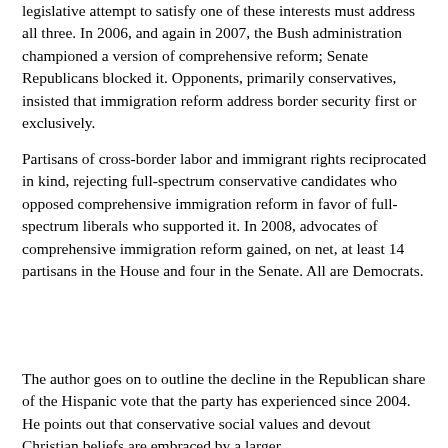legislative attempt to satisfy one of these interests must address all three. In 2006, and again in 2007, the Bush administration championed a version of comprehensive reform; Senate Republicans blocked it. Opponents, primarily conservatives, insisted that immigration reform address border security first or exclusively.
Partisans of cross-border labor and immigrant rights reciprocated in kind, rejecting full-spectrum conservative candidates who opposed comprehensive immigration reform in favor of full-spectrum liberals who supported it. In 2008, advocates of comprehensive immigration reform gained, on net, at least 14 partisans in the House and four in the Senate. All are Democrats.
The author goes on to outline the decline in the Republican share of the Hispanic vote that the party has experienced since 2004. He points out that conservative social values and devout Christian beliefs are embraced by a larger